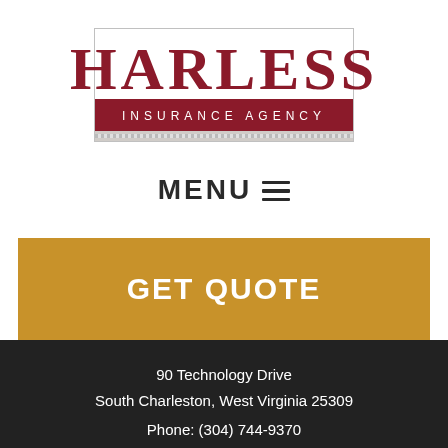[Figure (logo): Harless Insurance Agency logo with large red HARLESS text above a dark red banner reading INSURANCE AGENCY]
MENU ☰
GET QUOTE
90 Technology Drive
South Charleston, West Virginia 25309
Phone: (304) 744-9370